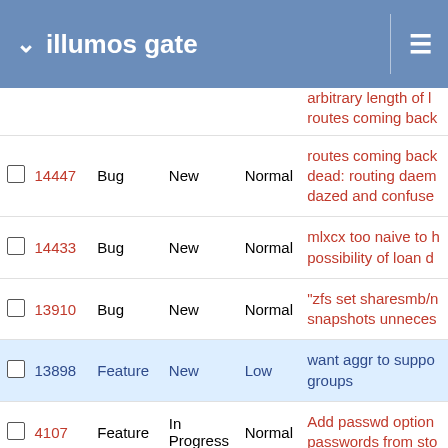illumos gate
|  | # | Type | Status | Priority | Subject |
| --- | --- | --- | --- | --- | --- |
|  | 14447 | Bug | New | Normal | routes coming back dead: routing daemon dazed and confused |
|  | 14433 | Bug | New | Normal | mlxcx too naive to handle possibility of loan d... |
|  | 13910 | Bug | New | Normal | "zfs set sharesmb/n snapshots unnecessary |
|  | 13898 | Feature | New | Low | want aggr to support groups |
|  | 4107 | Feature | In Progress | Normal | Add passwd option passwords from sto... |
|  | 5871 | Bug | New | Normal | svcs: memory leak in get_fmri_state() |
|  | 4422 | Feature | New | Normal | shutdown(1m) should have option |
|  |  |  |  |  | Illumos svr4pkg should understand additional... |